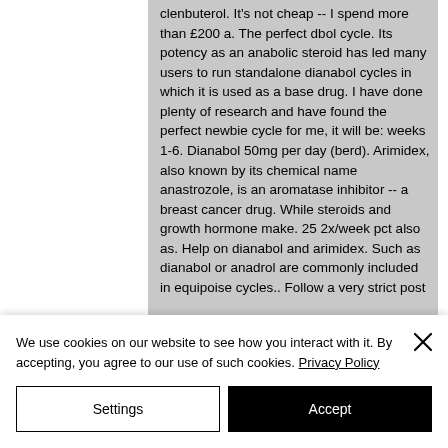clenbuterol. It's not cheap -- I spend more than £200 a. The perfect dbol cycle. Its potency as an anabolic steroid has led many users to run standalone dianabol cycles in which it is used as a base drug. I have done plenty of research and have found the perfect newbie cycle for me, it will be: weeks 1-6. Dianabol 50mg per day (berd). Arimidex, also known by its chemical name anastrozole, is an aromatase inhibitor -- a breast cancer drug. While steroids and growth hormone make. 25 2x/week pct also as. Help on dianabol and arimidex. Such as dianabol or anadrol are commonly included in equipoise cycles.. Follow a very strict post
We use cookies on our website to see how you interact with it. By accepting, you agree to our use of such cookies. Privacy Policy
Settings
Accept